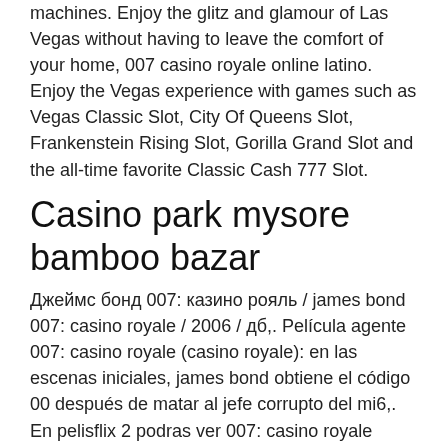machines. Enjoy the glitz and glamour of Las Vegas without having to leave the comfort of your home, 007 casino royale online latino. Enjoy the Vegas experience with games such as Vegas Classic Slot, City Of Queens Slot, Frankenstein Rising Slot, Gorilla Grand Slot and the all-time favorite Classic Cash 777 Slot.
Casino park mysore bamboo bazar
Джеймс бонд 007: казино рояль / james bond 007: casino royale / 2006 / дб,. Película agente 007: casino royale (casino royale): en las escenas iniciales, james bond obtiene el código 00 después de matar al jefe corrupto del mi6,. En pelisflix 2 podras ver 007: casino royale online en español latino. Entra y disfruta de scare us en hd completa y sin cortes. A(z) &quot;casino royale (teljes film) hun&quot; című videót &quot;frankking&quot; nevű felhasználó